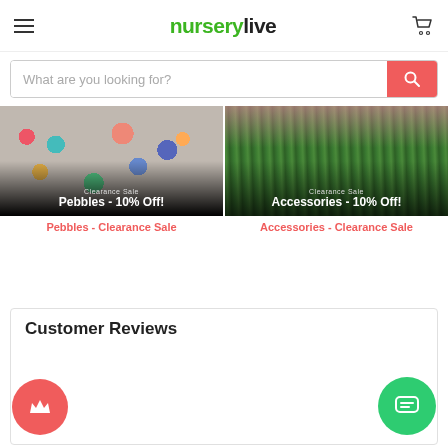nurserylive — navigation header with hamburger menu and cart icon
What are you looking for?
[Figure (photo): Clearance Sale banner for Pebbles - 10% Off showing colorful pebbles/stones]
Pebbles - Clearance Sale
[Figure (photo): Clearance Sale banner for Accessories - 10% Off showing green moss/grass with pink flower]
Accessories - Clearance Sale
[Figure (other): Red circular floating button with crown icon (loyalty/rewards)]
[Figure (other): Green rounded floating button with chat/message icon]
Customer Reviews